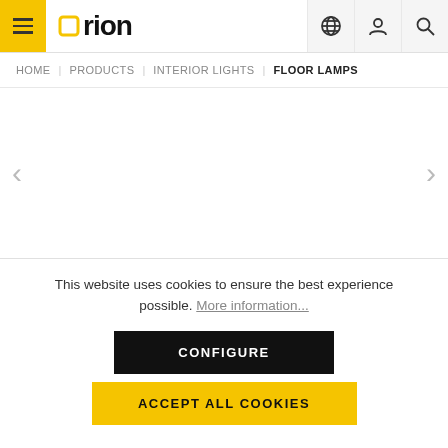orion — HOME | PRODUCTS | INTERIOR LIGHTS | FLOOR LAMPS
This website uses cookies to ensure the best experience possible. More information...
CONFIGURE
ACCEPT ALL COOKIES